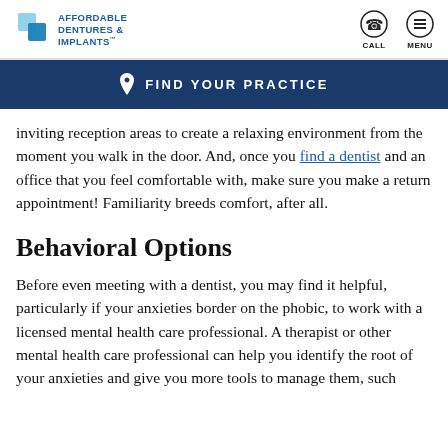AFFORDABLE DENTURES & IMPLANTS | CALL | MENU
FIND YOUR PRACTICE
inviting reception areas to create a relaxing environment from the moment you walk in the door. And, once you find a dentist and an office that you feel comfortable with, make sure you make a return appointment! Familiarity breeds comfort, after all.
Behavioral Options
Before even meeting with a dentist, you may find it helpful, particularly if your anxieties border on the phobic, to work with a licensed mental health care professional. A therapist or other mental health care professional can help you identify the root of your anxieties and give you more tools to manage them, such